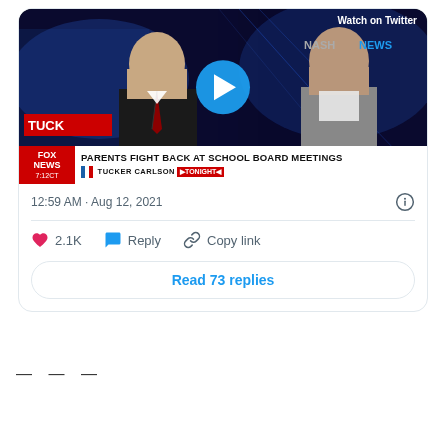[Figure (screenshot): Twitter/X card screenshot showing a Fox News Tucker Carlson Tonight video thumbnail with text 'PARENTS FIGHT BACK AT SCHOOL BOARD MEETINGS' and 'Watch on Twitter' label, with a blue play button overlay. Below: timestamp '12:59 AM · Aug 12, 2021', like count 2.1K, Reply, Copy link actions, and 'Read 73 replies' button.]
— — —